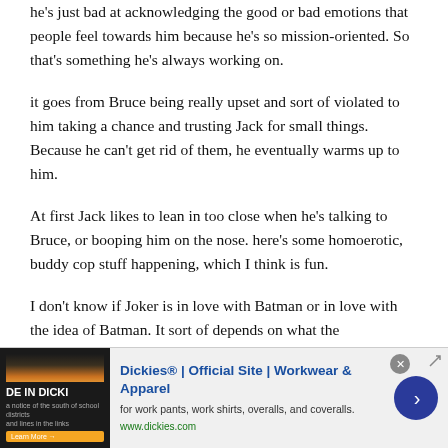he's just bad at acknowledging the good or bad emotions that people feel towards him because he's so mission-oriented. So that's something he's always working on.
it goes from Bruce being really upset and sort of violated to him taking a chance and trusting Jack for small things. Because he can't get rid of them, he eventually warms up to him.
At first Jack likes to lean in too close when he's talking to Bruce, or booping him on the nose. here's some homoerotic, buddy cop stuff happening, which I think is fun.
I don't know if Joker is in love with Batman or in love with the idea of Batman. It sort of depends on what the
[Figure (screenshot): Advertisement banner for Dickies Official Site - Workwear & Apparel. Shows 'DE IN DICKI' text on dark image background with a book cover, Dickies brand name in bold blue, tagline 'for work pants, work shirts, overalls, and coveralls.', website www.dickies.com, and a blue circular arrow button.]